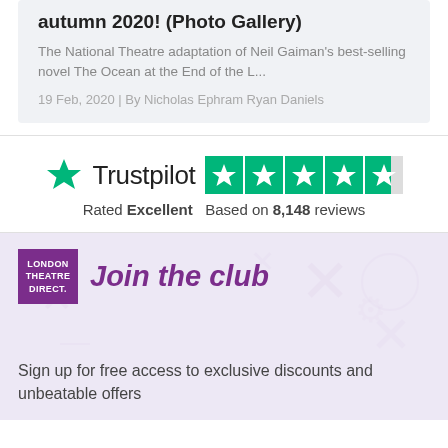autumn 2020! (Photo Gallery)
The National Theatre adaptation of Neil Gaiman's best-selling novel The Ocean at the End of the L...
19 Feb, 2020 | By Nicholas Ephram Ryan Daniels
[Figure (logo): Trustpilot logo with green star and 4.5 out of 5 green rating boxes. Text: Rated Excellent. Based on 8,148 reviews.]
[Figure (logo): London Theatre Direct purple logo box with Join the club heading and promotional text.]
Sign up for free access to exclusive discounts and unbeatable offers